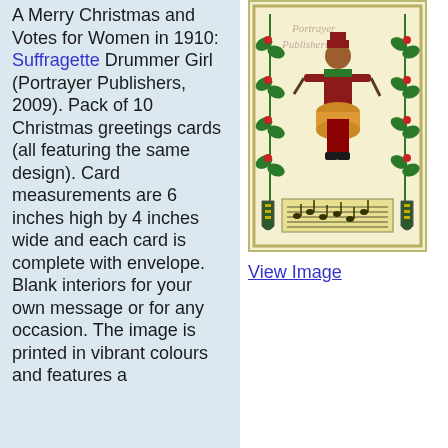A Merry Christmas and Votes for Women in 1910: Suffragette Drummer Girl (Portrayer Publishers, 2009). Pack of 10 Christmas greetings cards (all featuring the same design). Card measurements are 6 inches high by 4 inches wide and each card is complete with envelope. Blank interiors for your own message or for any occasion. The image is printed in vibrant colours and features a
[Figure (illustration): A Christmas greeting card illustration showing a suffragette drummer girl figure in red outfit surrounded by holly branches, with sheet music at the bottom and heraldic shields on either side.]
View Image